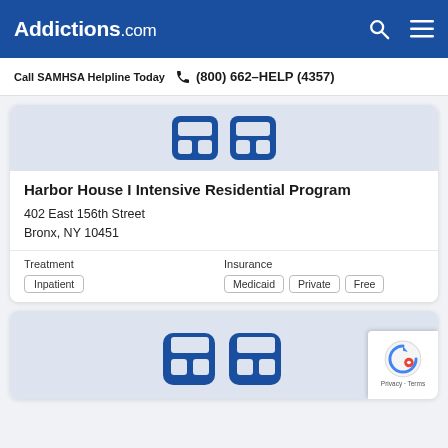Addictions.com
Call SAMHSA Helpline Today  (800) 662-HELP (4357)
[Figure (logo): Addictions.com facility logo icon (blue rounded square with stylized figure)]
Harbor House I Intensive Residential Program
402 East 156th Street
Bronx, NY 10451
Treatment
Inpatient
Insurance
Medicaid
Private
Free
[Figure (logo): Addictions.com facility logo icon (blue rounded square with stylized figure), partially visible at bottom]